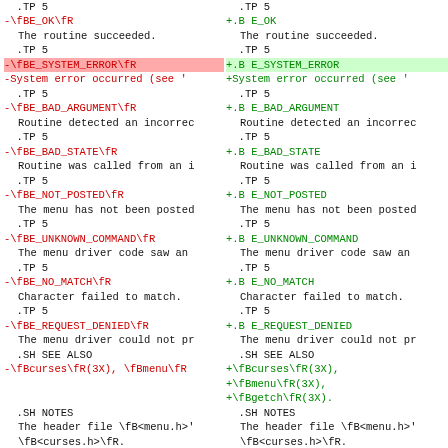Diff view of man page source code showing changes from troff format (-) to new format (+), including error codes like BE_OK, BE_SYSTEM_ERROR, BE_BAD_ARGUMENT, BE_BAD_STATE, BE_NOT_POSTED, BE_UNKNOWN_COMMAND, BE_NO_MATCH, BE_REQUEST_DENIED, and SEE ALSO / NOTES / PORTABILITY sections.